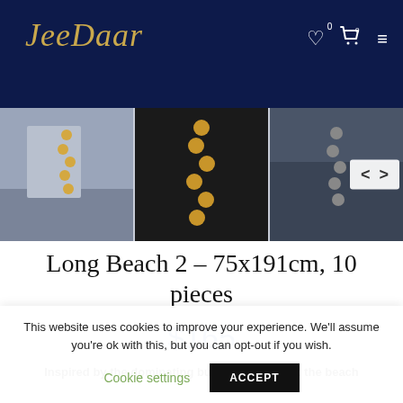JeeDaar
[Figure (photo): Three product images of JeeDaar Long Beach 2 decorative lamp, shown in room settings. Left: lamp in bedroom with gold hexagonal chain design on grey wall. Middle: close-up of gold honeycomb chain lamp on black background. Right: lamp in dark interior setting with navigation arrows overlay.]
Long Beach 2 – 75x191cm, 10 pieces
$165
Inspired by the dominating buildings colors at the beach
This website uses cookies to improve your experience. We'll assume you're ok with this, but you can opt-out if you wish.
Cookie settings
ACCEPT